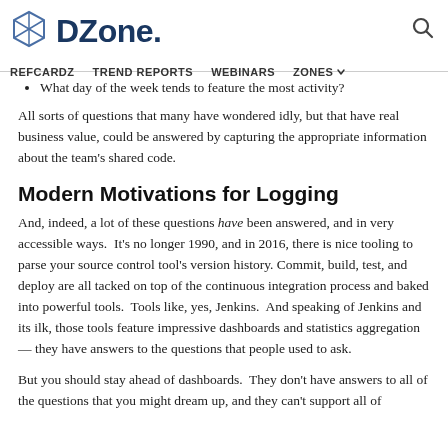DZone. REFCARDZ TREND REPORTS WEBINARS ZONES
What day of the week tends to feature the most activity?
All sorts of questions that many have wondered idly, but that have real business value, could be answered by capturing the appropriate information about the team’s shared code.
Modern Motivations for Logging
And, indeed, a lot of these questions have been answered, and in very accessible ways.  It’s no longer 1990, and in 2016, there is nice tooling to parse your source control tool’s version history. Commit, build, test, and deploy are all tacked on top of the continuous integration process and baked into powerful tools.  Tools like, yes, Jenkins.  And speaking of Jenkins and its ilk, those tools feature impressive dashboards and statistics aggregation — they have answers to the questions that people used to ask.
But you should stay ahead of dashboards.  They don’t have answers to all of the questions that you might dream up, and they can’t support all of